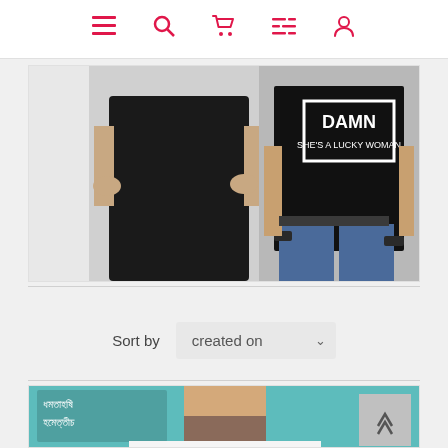Navigation bar with menu, search, cart, filter, and user icons
[Figure (photo): Two people wearing black t-shirts; the male shirt reads 'DAMN SHE'S A LUCKY WOMAN' on the back]
Sort by   created on
[Figure (photo): Man wearing a white sweatshirt with cartoon eyes graphic, teal background, Bengali text logo in top-left corner]